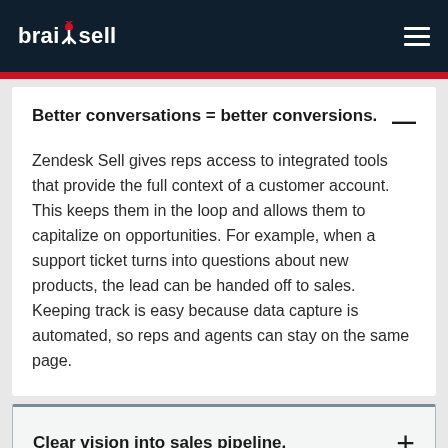brainsell
Better conversations = better conversions.
Zendesk Sell gives reps access to integrated tools that provide the full context of a customer account. This keeps them in the loop and allows them to capitalize on opportunities. For example, when a support ticket turns into questions about new products, the lead can be handed off to sales. Keeping track is easy because data capture is automated, so reps and agents can stay on the same page.
Clear vision into sales pipeline.